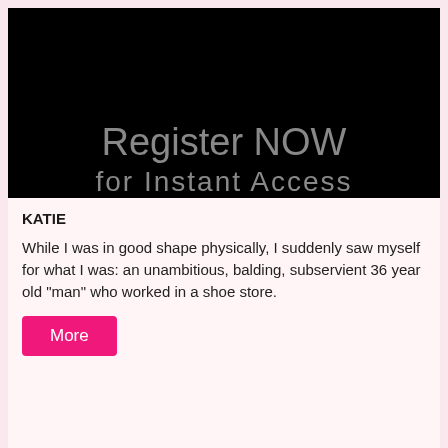[Figure (screenshot): Black background image with large gray text reading 'Register NOW' and below it 'for Instant Access' partially visible at the bottom edge.]
KATIE
While I was in good shape physically, I suddenly saw myself for what I was: an unambitious, balding, subservient 36 year old "man" who worked in a shoe store.
[Figure (other): Pink/hot-pink button labeled 'More']